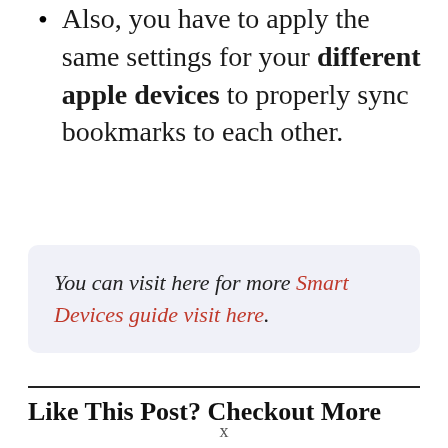Also, you have to apply the same settings for your different apple devices to properly sync bookmarks to each other.
You can visit here for more Smart Devices guide visit here.
Like This Post? Checkout More